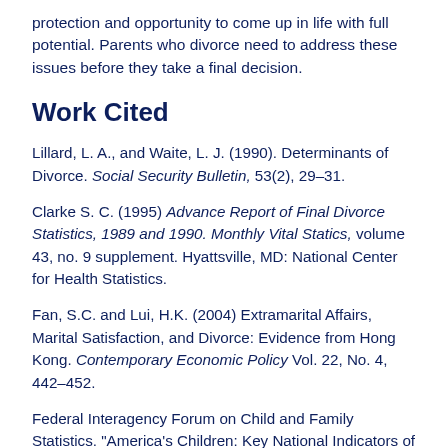protection and opportunity to come up in life with full potential. Parents who divorce need to address these issues before they take a final decision.
Work Cited
Lillard, L. A., and Waite, L. J. (1990). Determinants of Divorce. Social Security Bulletin, 53(2), 29–31.
Clarke S. C. (1995) Advance Report of Final Divorce Statistics, 1989 and 1990. Monthly Vital Statics, volume 43, no. 9 supplement. Hyattsville, MD: National Center for Health Statistics.
Fan, S.C. and Lui, H.K. (2004) Extramarital Affairs, Marital Satisfaction, and Divorce: Evidence from Hong Kong. Contemporary Economic Policy Vol. 22, No. 4, 442–452.
Federal Interagency Forum on Child and Family Statistics. "America's Children: Key National Indicators of Well-Being, 2002." Federal Interagency Forum on Child and Family